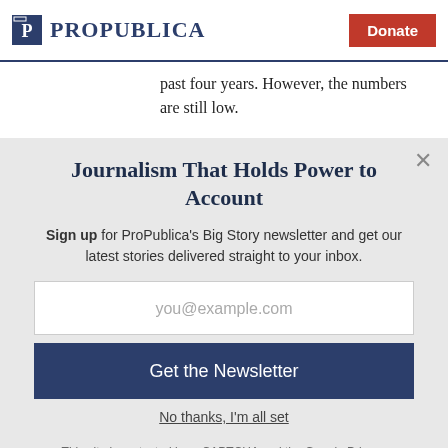ProPublica | Donate
past four years. However, the numbers are still low.
Journalism That Holds Power to Account
Sign up for ProPublica's Big Story newsletter and get our latest stories delivered straight to your inbox.
you@example.com
Get the Newsletter
No thanks, I'm all set
This site is protected by reCAPTCHA and the Google Privacy Policy and Terms of Service apply.